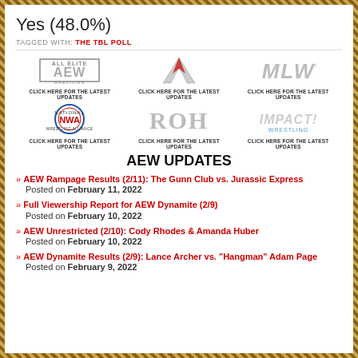Yes (48.0%)
TAGGED WITH: THE TBL POLL
[Figure (illustration): Wrestling promotion logos grid: AEW Wrestling, WWE, MLW, NWA, ROH, IMPACT Wrestling — each with 'CLICK HERE FOR THE LATEST UPDATES' below]
AEW UPDATES
AEW Rampage Results (2/11): The Gunn Club vs. Jurassic Express — Posted on February 11, 2022
Full Viewership Report for AEW Dynamite (2/9) — Posted on February 10, 2022
AEW Unrestricted (2/10): Cody Rhodes & Amanda Huber — Posted on February 10, 2022
AEW Dynamite Results (2/9): Lance Archer vs. "Hangman" Adam Page — Posted on February 9, 2022